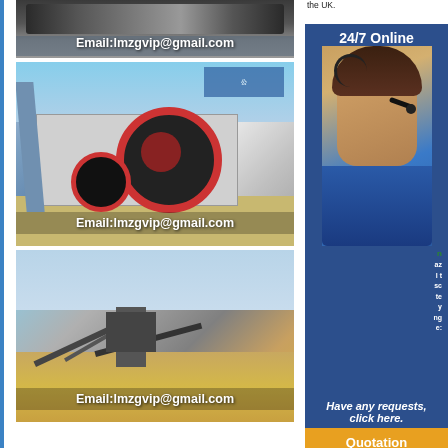[Figure (photo): Industrial machinery photo with Email:lmzgvip@gmail.com overlay, top partial view showing dark machinery]
[Figure (photo): Industrial jaw crusher machinery in factory/yard setting with Email:lmzgvip@gmail.com overlay]
[Figure (photo): Mining/aggregate processing plant outdoor photo with Email:lmzgvip@gmail.com overlay]
[Figure (photo): 24/7 Online chat widget with female customer service agent wearing headset. Text: Have any requests, click here. Quotation button.]
the UK.
Garden Railways magazine trains, construction and t... news, reviews of largesca... to articles, beginner mate... Railway Track Departme... list price. Peco SM32 ga... narrow gauge models us... coarse O Gauge track.